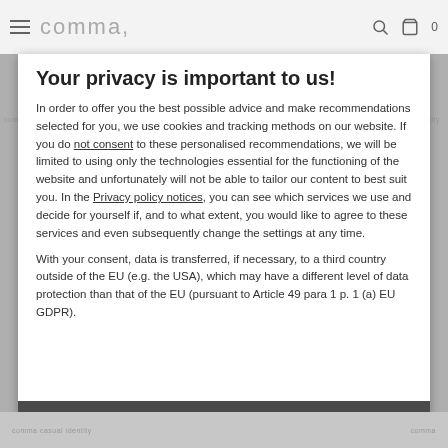comma,
Your privacy is important to us!
In order to offer you the best possible advice and make recommendations selected for you, we use cookies and tracking methods on our website. If you do not consent to these personalised recommendations, we will be limited to using only the technologies essential for the functioning of the website and unfortunately will not be able to tailor our content to best suit you. In the Privacy policy notices, you can see which services we use and decide for yourself if, and to what extent, you would like to agree to these services and even subsequently change the settings at any time.
With your consent, data is transferred, if necessary, to a third country outside of the EU (e.g. the USA), which may have a different level of data protection than that of the EU (pursuant to Article 49 para 1 p. 1 (a) EU GDPR).
ACCEPT ALL